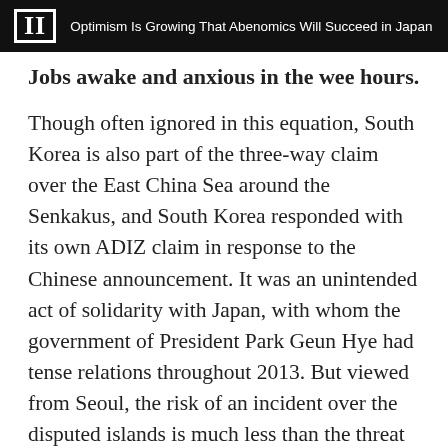II  Optimism Is Growing That Abenomics Will Succeed in Japan
Jobs awake and anxious in the wee hours.
Though often ignored in this equation, South Korea is also part of the three-way claim over the East China Sea around the Senkakus, and South Korea responded with its own ADIZ claim in response to the Chinese announcement. It was an unintended act of solidarity with Japan, with whom the government of President Park Geun Hye had tense relations throughout 2013. But viewed from Seoul, the risk of an incident over the disputed islands is much less than the threat of another provocation from the brutal North Korean regime of Kim Jong Un.
[Figure (other): Social sharing icons: Facebook, Twitter, and a plus/share button]